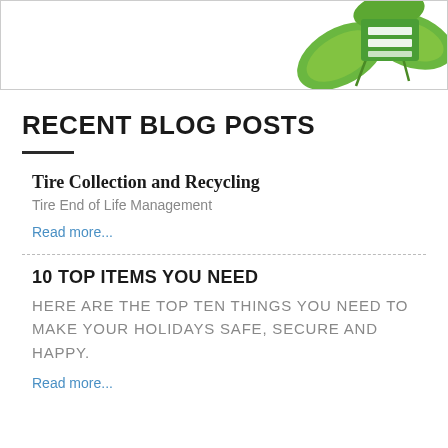[Figure (illustration): Website header banner with white background, green leaf decorations and a green rectangular logo/icon on the right side, surrounded by a light gray border.]
RECENT BLOG POSTS
Tire Collection and Recycling
Tire End of Life Management
Read more...
10 TOP ITEMS YOU NEED
HERE ARE THE TOP TEN THINGS YOU NEED TO MAKE YOUR HOLIDAYS SAFE, SECURE AND HAPPY.
Read more...